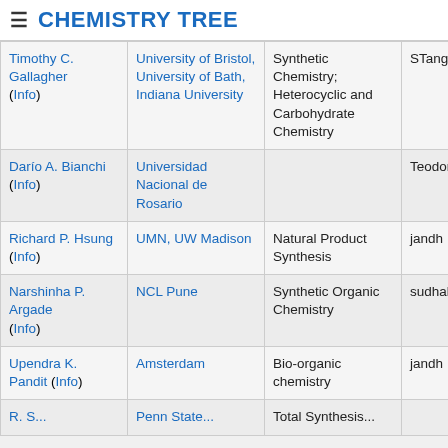CHEMISTRY TREE
| Name | Institution | Area | Added by |
| --- | --- | --- | --- |
| Timothy C. Gallagher (Info) | University of Bristol, University of Bath, Indiana University | Synthetic Chemistry; Heterocyclic and Carbohydrate Chemistry | STang |
| Darío A. Bianchi (Info) | Universidad Nacional de Rosario |  | TeodoroK |
| Richard P. Hsung (Info) | UMN, UW Madison | Natural Product Synthesis | jandh |
| Narshinha P. Argade (Info) | NCL Pune | Synthetic Organic Chemistry | sudhakar.gaikwad |
| Upendra K. Pandit (Info) | Amsterdam | Bio-organic chemistry | jandh |
| R. S. ... | Penn State ... | Total Synthesis ... |  |